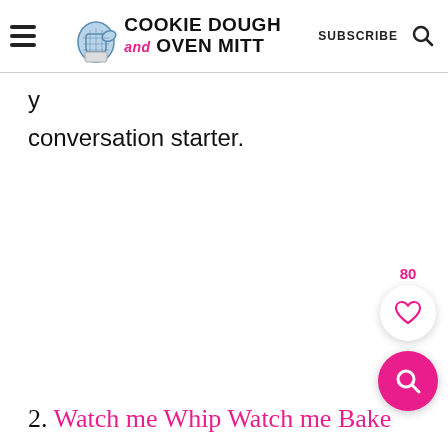Cookie Dough and Oven Mitt | SUBSCRIBE
conversation starter.
80
2. Watch me Whip Watch me Bake